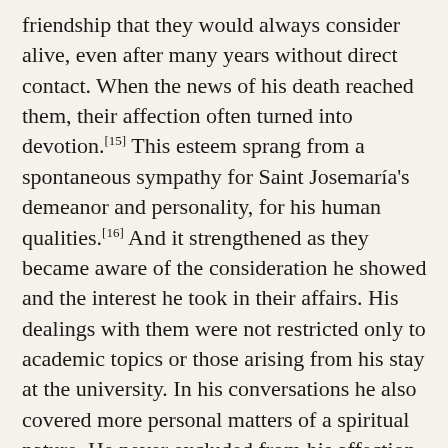friendship that they would always consider alive, even after many years without direct contact. When the news of his death reached them, their affection often turned into devotion.[15] This esteem sprang from a spontaneous sympathy for Saint Josemaría's demeanor and personality, for his human qualities.[16] And it strengthened as they became aware of the consideration he showed and the interest he took in their affairs. His dealings with them were not restricted only to academic topics or those arising from his stay at the university. In his conversations he also covered more personal matters of a spiritual nature. He never excluded from his affection those who, because of their ideas, were far from the faith. For example, the magistrate Pascual Galbe, who was a judge in the Barcelona Court during the civil war,